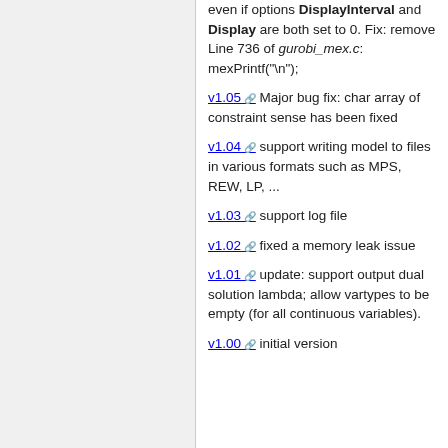even if options DisplayInterval and Display are both set to 0. Fix: remove Line 736 of gurobi_mex.c: mexPrintf("\n");
v1.05 Major bug fix: char array of constraint sense has been fixed
v1.04 support writing model to files in various formats such as MPS, REW, LP, ...
v1.03 support log file
v1.02 fixed a memory leak issue
v1.01 update: support output dual solution lambda; allow vartypes to be empty (for all continuous variables).
v1.00 initial version